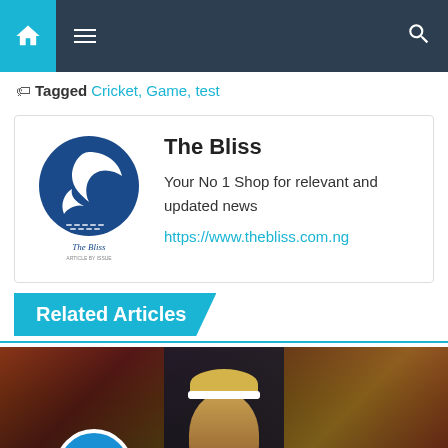Navigation bar with home, menu, and search icons
Tagged Cricket, Game, test
The Bliss
Your No 1 Shop for relevant and updated news
https://www.thebliss.com.ng
Related Articles
[Figure (photo): Photo of a football player with blonde hair wearing a dark jersey, with a Napoli (N) badge visible, crowd in background]